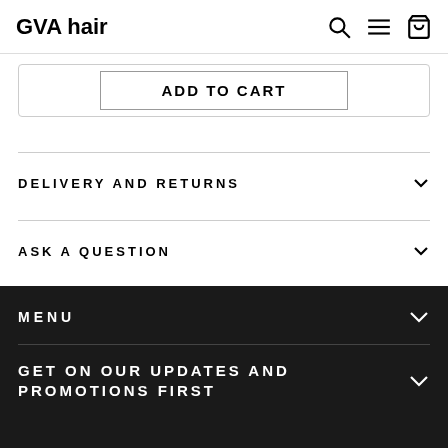GVA hair
Add to cart
DELIVERY AND RETURNS
ASK A QUESTION
Share  Tweet  Pin it
MENU
GET ON OUR UPDATES AND PROMOTIONS FIRST